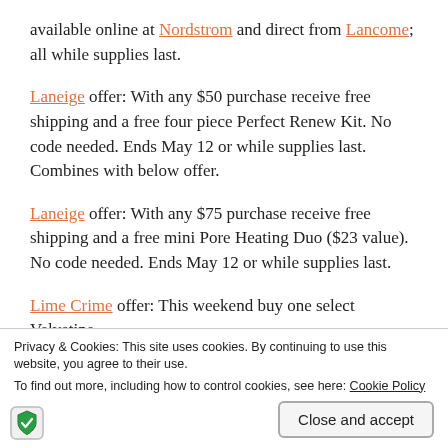available online at Nordstrom and direct from Lancome; all while supplies last.
Laneige offer: With any $50 purchase receive free shipping and a free four piece Perfect Renew Kit. No code needed. Ends May 12 or while supplies last. Combines with below offer.
Laneige offer: With any $75 purchase receive free shipping and a free mini Pore Heating Duo ($23 value). No code needed. Ends May 12 or while supplies last.
Lime Crime offer: This weekend buy one select Velvetine
Privacy & Cookies: This site uses cookies. By continuing to use this website, you agree to their use.
To find out more, including how to control cookies, see here: Cookie Policy
Close and accept